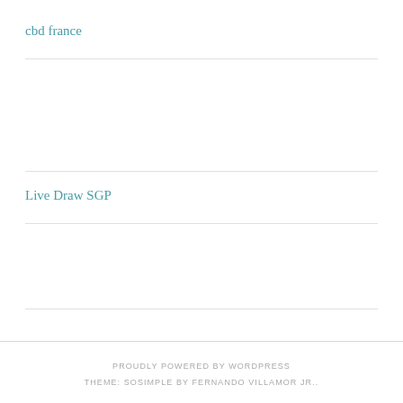cbd france
Live Draw SGP
PROUDLY POWERED BY WORDPRESS
THEME: SOSIMPLE BY FERNANDO VILLAMOR JR..